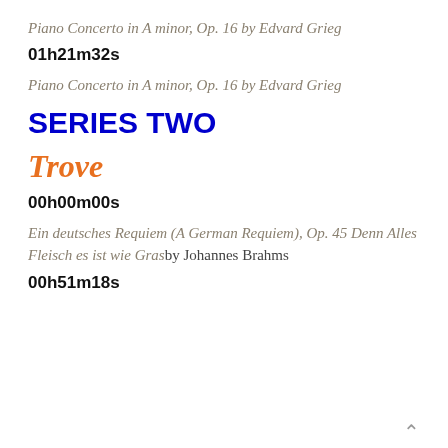Piano Concerto in A minor, Op. 16 by Edvard Grieg
01h21m32s
Piano Concerto in A minor, Op. 16 by Edvard Grieg
SERIES TWO
Trove
00h00m00s
Ein deutsches Requiem (A German Requiem), Op. 45 Denn Alles Fleisch es ist wie Gras by Johannes Brahms
00h51m18s